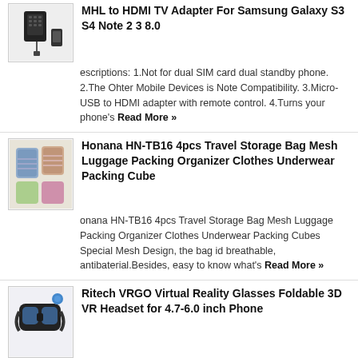MHL to HDMI TV Adapter For Samsung Galaxy S3 S4 Note 2 3 8.0
escriptions: 1.Not for dual SIM card dual standby phone. 2.The Ohter Mobile Devices is Note Compatibility. 3.Micro-USB to HDMI adapter with remote control. 4.Turns your phone's Read More »
Honana HN-TB16 4pcs Travel Storage Bag Mesh Luggage Packing Organizer Clothes Underwear Packing Cube
onana HN-TB16 4pcs Travel Storage Bag Mesh Luggage Packing Organizer Clothes Underwear Packing Cubes Special Mesh Design, the bag id breathable, antibaterial.Besides, easy to know what's Read More »
Ritech VRGO Virtual Reality Glasses Foldable 3D VR Headset for 4.7-6.0 inch Phone
Specific parameters Features Advantage(Compare with other VR Glasses): Fully Optical Design Good Sealing Performance Ergonomics Head Strap Design Compatibility with Most Phone Size Light Weight Small Read More »